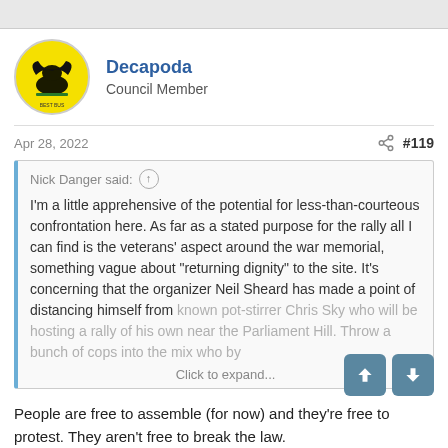Decapoda
Council Member
Apr 28, 2022  #119
Nick Danger said:
I'm a little apprehensive of the potential for less-than-courteous confrontation here. As far as a stated purpose for the rally all I can find is the veterans' aspect around the war memorial, something vague about "returning dignity" to the site. It's concerning that the organizer Neil Sheard has made a point of distancing himself from known pot-stirrer Chris Sky who will be hosting a rally of his own near the Parliament Hill. Throw a bunch of cops into the mix who by
Click to expand...
People are free to assemble (for now) and they're free to protest. They aren't free to break the law.
Unfortunately, Trudeau and other levels of government took it upon